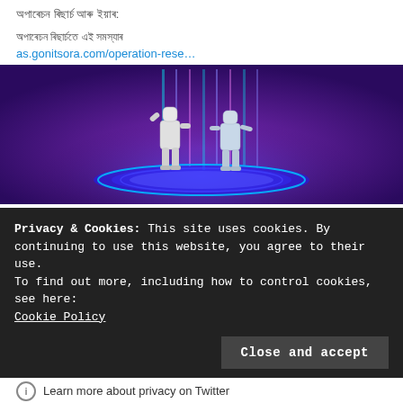অপাৰেচন ৰিছাৰ্চ আৰু ইয়াৰ:
অপাৰেচন ৰিছাৰ্চতে এই সমস্যাৰ
as.gonitsora.com/operation-rese…
[Figure (illustration): 3D illustration of two humanoid robots standing on a glowing futuristic circular platform with purple/blue neon lighting and cylindrical holographic display behind them]
as.gonitsora.com
অপাৰেচন ৰিছাৰ্চতে এই সমস্যাৰ - গণিত চ'ৰা
Privacy & Cookies: This site uses cookies. By continuing to use this website, you agree to their use.
To find out more, including how to control cookies, see here:
Cookie Policy
Close and accept
Learn more about privacy on Twitter